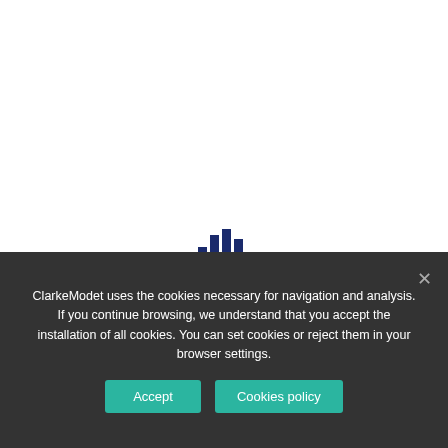[Figure (logo): ClarkeModet logo — stylized vertical bar chart icon in dark blue]
ClarkeModet uses the cookies necessary for navigation and analysis. If you continue browsing, we understand that you accept the installation of all cookies. You can set cookies or reject them in your browser settings.
Accept | Cookies policy